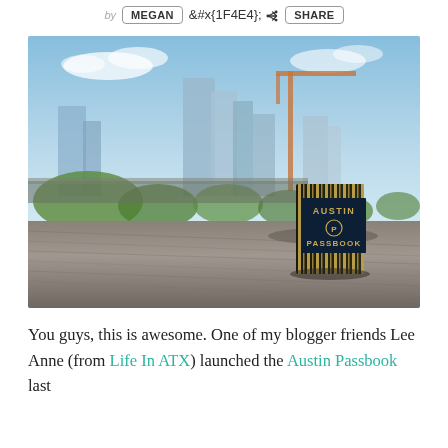by MEGAN  [share icon] SHARE
[Figure (photo): Austin Passbook booklet standing upright on a wooden deck table with the Austin city skyline and a construction crane in the background under a partly cloudy blue sky.]
You guys, this is awesome. One of my blogger friends Lee Anne (from Life In ATX) launched the Austin Passbook last